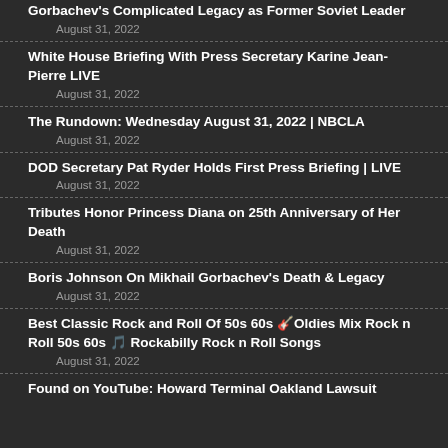Gorbachev's Complicated Legacy as Former Soviet Leader
August 31, 2022
White House Briefing With Press Secretary Karine Jean-Pierre LIVE
August 31, 2022
The Rundown: Wednesday August 31, 2022 | NBCLA
August 31, 2022
DOD Secretary Pat Ryder Holds First Press Briefing | LIVE
August 31, 2022
Tributes Honor Princess Diana on 25th Anniversary of Her Death
August 31, 2022
Boris Johnson On Mikhail Gorbachev's Death & Legacy
August 31, 2022
Best Classic Rock and Roll Of 50s 60s 🎸Oldies Mix Rock n Roll 50s 60s 🎵 Rockabilly Rock n Roll Songs
August 31, 2022
Found on YouTube: Howard Terminal Oakland Lawsuit